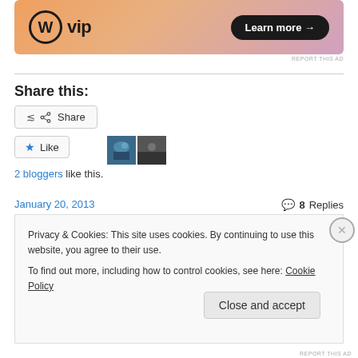[Figure (other): WordPress VIP advertisement banner with orange/pink gradient background, WordPress logo circle, 'vip' text, and 'Learn more →' button]
REPORT THIS AD
Share this:
Share (button)
Like (button) — 2 bloggers like this.
January 20, 2013
8 Replies
Privacy & Cookies: This site uses cookies. By continuing to use this website, you agree to their use.
To find out more, including how to control cookies, see here: Cookie Policy
Close and accept